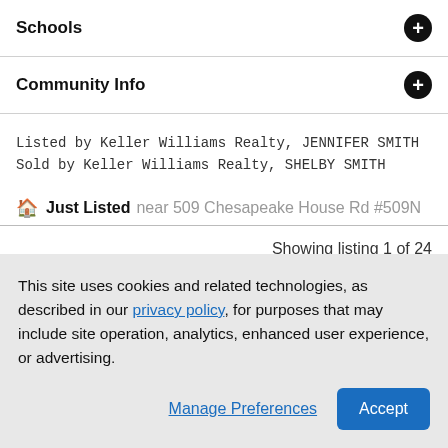Schools
Community Info
Listed by Keller Williams Realty, JENNIFER SMITH
Sold by Keller Williams Realty, SHELBY SMITH
Just Listed near 509 Chesapeake House Rd #509N
Showing listing 1 of 24
[Figure (photo): Partial view of a white house exterior with blue sky background]
This site uses cookies and related technologies, as described in our privacy policy, for purposes that may include site operation, analytics, enhanced user experience, or advertising.
Manage Preferences    Accept